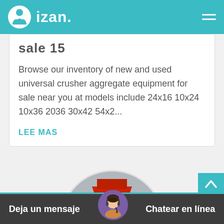izan.
sale 15
Browse our inventory of new and used universal crusher aggregate equipment for sale near you at models include 24x16 10x24 10x36 2036 30x42 54x2...
LEE MAS
[Figure (photo): Circular cropped photo of a red and white industrial crusher machine in a warehouse setting]
[Figure (photo): Circular avatar photo of a woman with a headset, used as chat support icon]